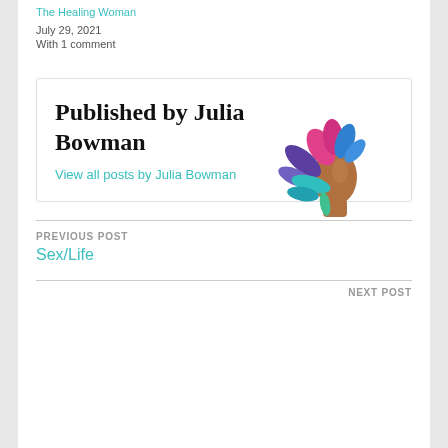The Healing Woman
July 29, 2021
With 1 comment
Published by Julia Bowman
View all posts by Julia Bowman
[Figure (logo): Stylized woman silhouette with colorful leaves/flowers in pink, blue, purple, and teal colors]
PREVIOUS POST
Sex/Life
NEXT POST